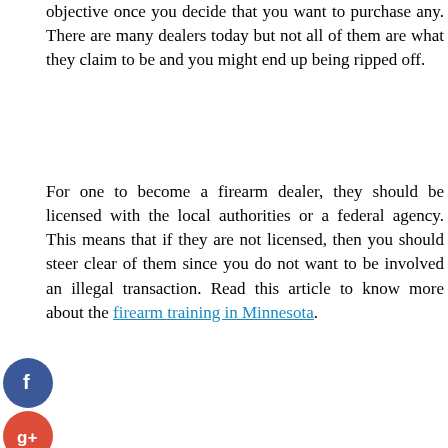objective once you decide that you want to purchase any. There are many dealers today but not all of them are what they claim to be and you might end up being ripped off.
For one to become a firearm dealer, they should be licensed with the local authorities or a federal agency. This means that if they are not licensed, then you should steer clear of them since you do not want to be involved an illegal transaction. Read this article to know more about the firearm training in Minnesota.
[Figure (photo): Photo of people handling rifles/firearms at what appears to be a gun show or exhibition, with a blue circular menu button overlay in the bottom right.]